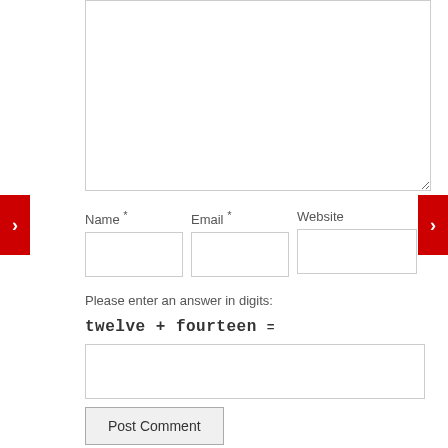[Figure (screenshot): Comment textarea input box at top of page]
Name * Email * Website
[Figure (screenshot): Three input fields: Name, Email, Website]
Please enter an answer in digits:
twelve + fourteen =
[Figure (screenshot): Answer input field]
Post Comment